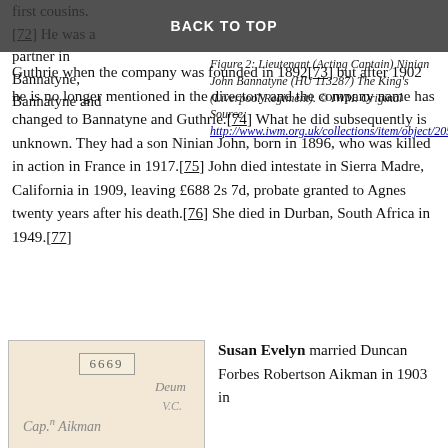first cousins.
BACK TO TOP
Figure 2: Lieutenant (Acting Captain) Ninian John Bannatyne (HU 113287) The King's (Liverpool Regiment). © IWM. Original Source: http://www.iwm.org.uk/collections/item/object/20529…
[72] He was a partner in Bannatyne, Bannatyne and Guthrie when the company was founded in 1892[73] but after 1902 he is no longer mentioned in the directory and the company name has changed to Bannatyne and Guthrie.[74] What he did subsequently is unknown. They had a son Ninian John, born in 1896, who was killed in action in France in 1917.[75] John died intestate in Sierra Madre, California in 1909, leaving £688 2s 7d, probate granted to Agnes twenty years after his death.[76] She died in Durban, South Africa in 1949.[77]
[Figure (photo): Historical document or label showing number 6669, and cursive script reading 'Deum', 'V.C.', and 'Cap.n Aikman']
Susan Evelyn married Duncan Forbes Robertson Aikman in 1903 in